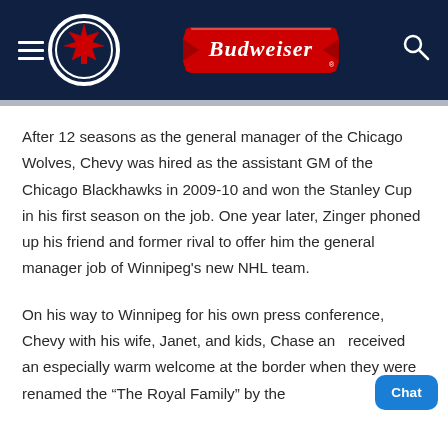[Figure (logo): Winnipeg Jets NHL team logo — white maple leaf on dark blue circular background, with white circle border]
[Figure (logo): Budweiser red bowtie logo with stylized cursive 'Budweiser' text in white on red background]
After 12 seasons as the general manager of the Chicago Wolves, Chevy was hired as the assistant GM of the Chicago Blackhawks in 2009-10 and won the Stanley Cup in his first season on the job. One year later, Zinger phoned up his friend and former rival to offer him the general manager job of Winnipeg's new NHL team.
On his way to Winnipeg for his own press conference, Chevy with his wife, Janet, and kids, Chase an... received an especially warm welcome at the border when they were renamed the “The Royal Family” by the